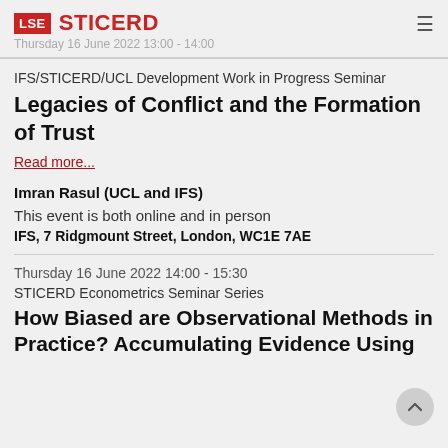LSE STICERD
Thursday 16 June 2022 13:00 - 14:00
IFS/STICERD/UCL Development Work in Progress Seminar
Legacies of Conflict and the Formation of Trust
Read more...
Imran Rasul (UCL and IFS)
This event is both online and in person
IFS, 7 Ridgmount Street, London, WC1E 7AE
Thursday 16 June 2022 14:00 - 15:30
STICERD Econometrics Seminar Series
How Biased are Observational Methods in Practice? Accumulating Evidence Using